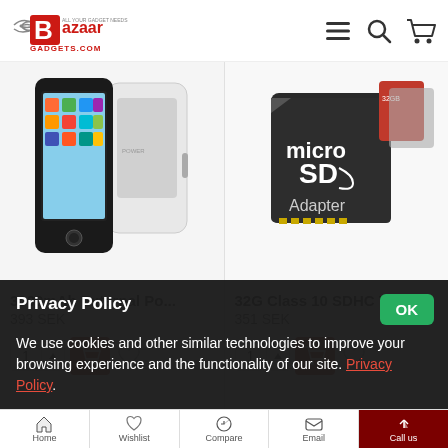[Figure (logo): Bazaar Gadgets logo with stylized B and text 'BazaarGADGETS.COM']
[Figure (screenshot): Navigation icons: hamburger menu, search magnifier, shopping cart]
[Figure (photo): Product photo of iPhone with 3000mAh external power case, white color]
3000mAh External Po...
393 SEK
[Figure (photo): Product photo of microSD card with adapter, 32GB class 10]
32G Class 10 SDHC TF ...
351 SEK
Privacy Policy
We use cookies and other similar technologies to improve your browsing experience and the functionality of our site. Privacy Policy.
Home  Wishlist  Compare  Email  Call us